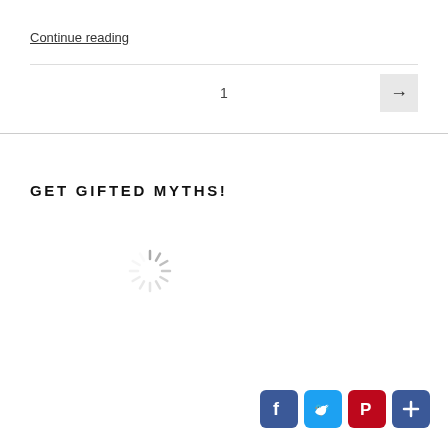Continue reading
1
GET GIFTED MYTHS!
[Figure (other): Loading spinner icon]
[Figure (other): Social share buttons: Facebook, Twitter, Pinterest, Plus]